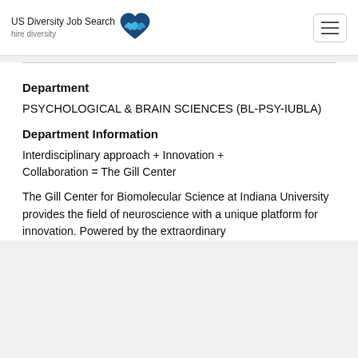US Diversity Job Search hire diversity
Department
PSYCHOLOGICAL & BRAIN SCIENCES (BL-PSY-IUBLA)
Department Information
Interdisciplinary approach + Innovation + Collaboration = The Gill Center
The Gill Center for Biomolecular Science at Indiana University provides the field of neuroscience with a unique platform for innovation. Powered by the extraordinary